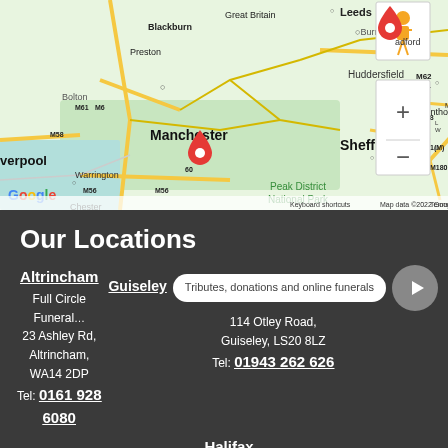[Figure (map): Google Maps screenshot showing northern England including Manchester, Leeds, Sheffield, Huddersfield, Liverpool area with two red location pins — one near Bradford/Leeds and one near Manchester. Map controls (zoom +/−, street view person icon) visible top-right. Google logo bottom-left. Attribution: Map data ©2022 Google, Terms of Use, Keyboard shortcuts.]
Our Locations
Altrincham
Full Circle Funeral...
23 Ashley Rd,
Altrincham,
WA14 2DP
Tel: 0161 928 6080
Tributes, donations and online funerals
Guiseley
114 Otley Road,
Guiseley, LS20 8LZ
Tel: 01943 262 626
Halifax